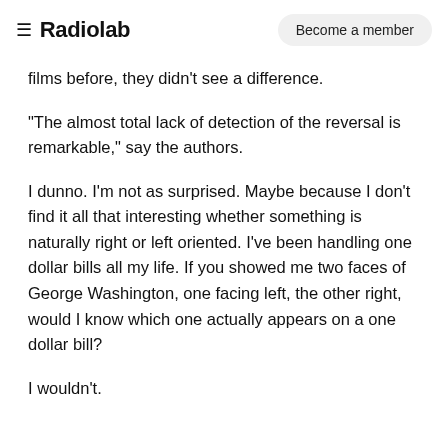≡ Radiolab   Become a member
films before, they didn't see a difference.
"The almost total lack of detection of the reversal is remarkable," say the authors.
I dunno. I'm not as surprised. Maybe because I don't find it all that interesting whether something is naturally right or left oriented. I've been handling one dollar bills all my life. If you showed me two faces of George Washington, one facing left, the other right, would I know which one actually appears on a one dollar bill?
I wouldn't.